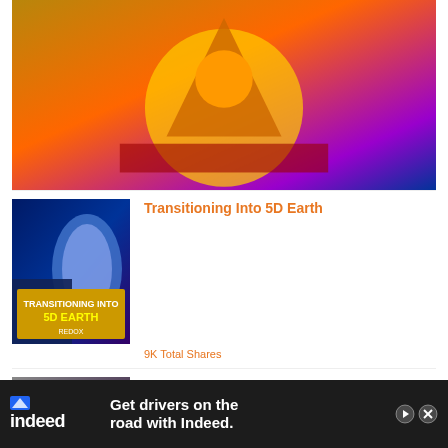[Figure (photo): Partial top image - colorful psychedelic/fantasy artwork with golden figure]
[Figure (photo): Transitioning Into 5D Earth book/article cover with futuristic city and text overlay]
Transitioning Into 5D Earth
9K Total Shares
[Figure (photo): A Guide To Earth's Extraterrestrial Races - collage of alien faces and humanoid beings]
A Guide To Earth’s Extraterrestrial Races
9K Total Shares
[Figure (photo): Your Feng Shui Birth Element - Bagua/yin-yang diagram with colored sections]
Your Feng Shui Birth Element
8K Total Shares
[Figure (screenshot): Indeed advertisement banner - Get drivers on the road with Indeed.]